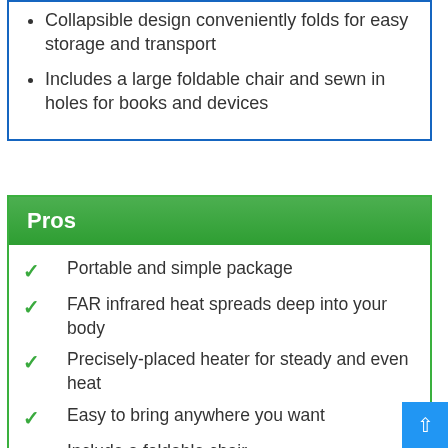Collapsible design conveniently folds for easy storage and transport
Includes a large foldable chair and sewn in holes for books and devices
Pros
Portable and simple package
FAR infrared heat spreads deep into your body
Precisely-placed heater for steady and even heat
Easy to bring anywhere you want
Include a foldable chair